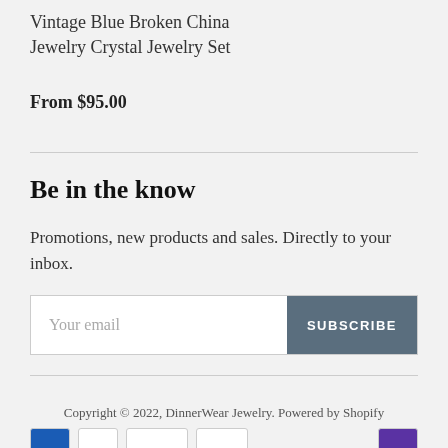Vintage Blue Broken China Jewelry Crystal Jewelry Set
From $95.00
Be in the know
Promotions, new products and sales. Directly to your inbox.
Your email
SUBSCRIBE
Copyright © 2022, DinnerWear Jewelry. Powered by Shopify